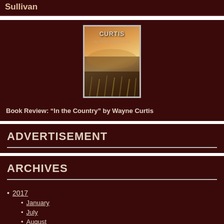Sullivan
[Figure (photo): Book cover image for 'In the Country' by Wayne Curtis, showing a warm golden-light landscape scene with text 'CURTIS' and 'IN THE COUNTRY']
Book Review: “In the Country” by Wayne Curtis
ADVERTISEMENT
ARCHIVES
2017
January
July
August